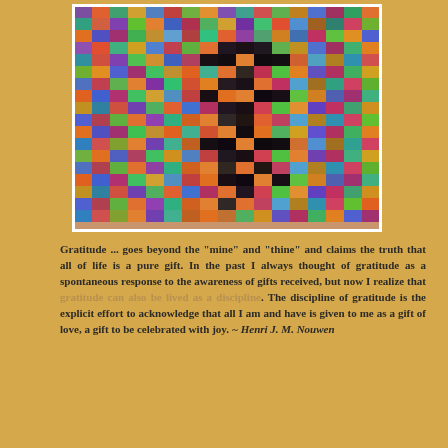[Figure (illustration): A colorful mosaic/collage artwork composed of hundreds of small multicolored square tiles arranged in a grid pattern, forming an abstract mosaic image with vivid reds, blues, greens, oranges, purples and other colors.]
Gratitude ... goes beyond the "mine" and "thine" and claims the truth that all of life is a pure gift. In the past I always thought of gratitude as a spontaneous response to the awareness of gifts received, but now I realize that gratitude can also be lived as a discipline. The discipline of gratitude is the explicit effort to acknowledge that all I am and have is given to me as a gift of love, a gift to be celebrated with joy. ~ Henri J. M. Nouwen